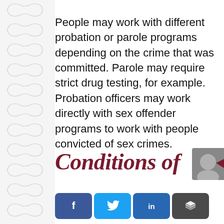People may work with different probation or parole programs depending on the crime that was committed. Parole may require strict drug testing, for example. Probation officers may work directly with sex offender programs to work with people convicted of sex crimes.
Conditions of
[Figure (other): Social sharing buttons for Facebook, Twitter, LinkedIn, and Buffer]